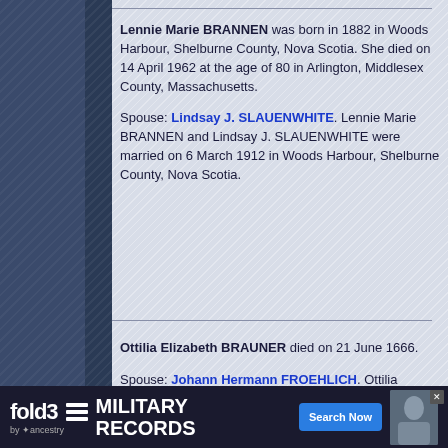Lennie Marie BRANNEN was born in 1882 in Woods Harbour, Shelburne County, Nova Scotia. She died on 14 April 1962 at the age of 80 in Arlington, Middlesex County, Massachusetts.

Spouse: Lindsay J. SLAUENWHITE. Lennie Marie BRANNEN and Lindsay J. SLAUENWHITE were married on 6 March 1912 in Woods Harbour, Shelburne County, Nova Scotia.
Ottilia Elizabeth BRAUNER died on 21 June 1666.

Spouse: Johann Hermann FROEHLICH. Ottilia Elizabeth BRAUNER and Johann Hermann FROEHLICH were married on 15 September 1663. Children were:
[Figure (screenshot): Fold3 by Ancestry advertisement banner for Military Records with Search Now button]